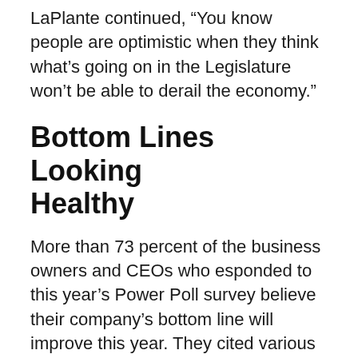LaPlante continued, “You know people are optimistic when they think what’s going on in the Legislature won’t be able to derail the economy.”
Bottom Lines Looking Healthy
More than 73 percent of the business owners and CEOs who esponded to this year’s Power Poll survey believe their company’s bottom line will improve this year. They cited various factors affecting their individual firms and industries, but also mentioned the positive outlook for the state’s overall economy. Kevin Rabbitt, president and CEO of GES Exposition Services, a convention support company with offices in Las Vegas and Reno, said, “In 2006, we increased